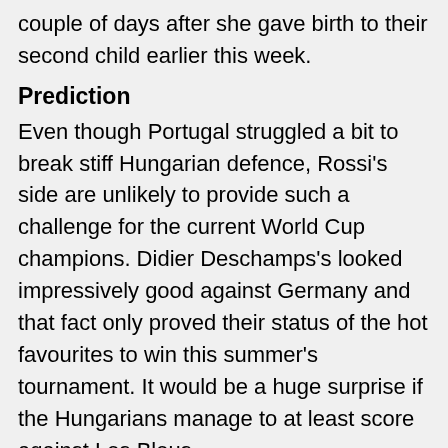couple of days after she gave birth to their second child earlier this week.
Prediction
Even though Portugal struggled a bit to break stiff Hungarian defence, Rossi's side are unlikely to provide such a challenge for the current World Cup champions. Didier Deschamps's looked impressively good against Germany and that fact only proved their status of the hot favourites to win this summer's tournament. It would be a huge surprise if the Hungarians manage to at least score against Les Bleus.
Tip
France to win to nil at 1.87 with 1XBET.